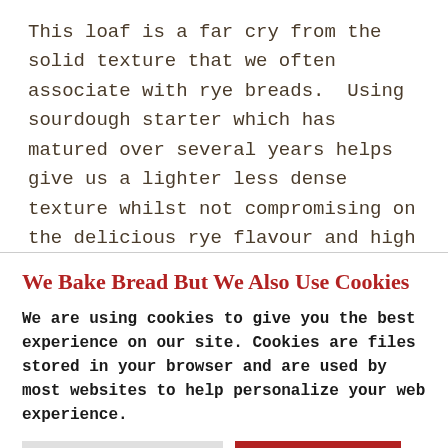This loaf is a far cry from the solid texture that we often associate with rye breads.  Using sourdough starter which has matured over several years helps give us a lighter less dense texture whilst not compromising on the delicious rye flavour and high fibre content.
We Bake Bread But We Also Use Cookies
We are using cookies to give you the best experience on our site. Cookies are files stored in your browser and are used by most websites to help personalize your web experience.
Cookie Settings  Accept All